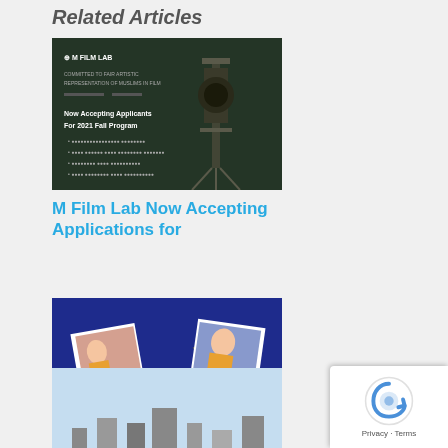Related Articles
[Figure (photo): M Film Lab promotional image - dark background with film equipment, text about being committed to fair artistic representation of Muslims in film, now accepting applicants for 2021 Fall Program]
M Film Lab Now Accepting Applications for
[Figure (photo): Disney Launchpad presents American Eid - blue background with gold stars and polaroid photos of children]
American Eid – Interview with Director Aqsa Altaf
[Figure (photo): Person in red jacket standing in front of a cityscape]
[Figure (other): reCAPTCHA widget overlay - Privacy - Terms]